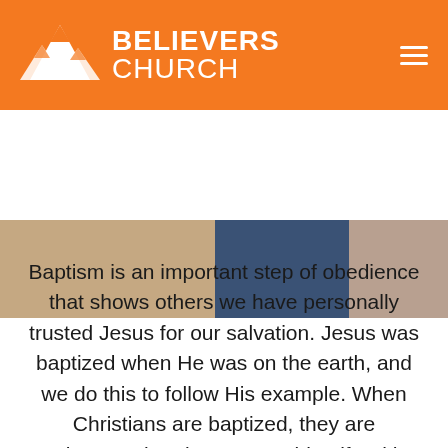BELIEVERS CHURCH
[Figure (photo): Cropped photo of people near water, showing partial figures in blue and tan clothing]
Baptism is an important step of obedience that shows others we have personally trusted Jesus for our salvation. Jesus was baptized when He was on the earth, and we do this to follow His example. When Christians are baptized, they are submerged under water to identify with the death and